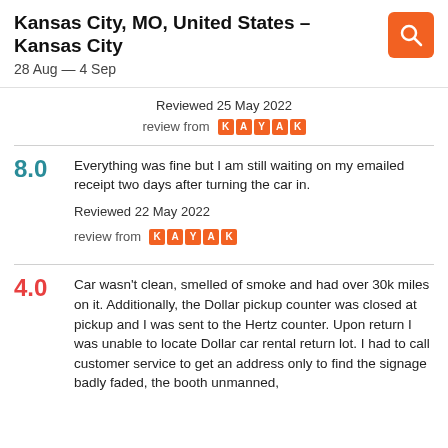Kansas City, MO, United States – Kansas City
28 Aug — 4 Sep
Reviewed 25 May 2022
review from KAYAK
8.0  Everything was fine but I am still waiting on my emailed receipt two days after turning the car in.
Reviewed 22 May 2022
review from KAYAK
4.0  Car wasn't clean, smelled of smoke and had over 30k miles on it. Additionally, the Dollar pickup counter was closed at pickup and I was sent to the Hertz counter. Upon return I was unable to locate Dollar car rental return lot. I had to call customer service to get an address only to find the signage badly faded, the booth unmanned,